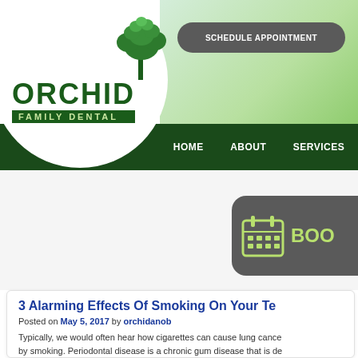[Figure (logo): Orchid Family Dental logo with green tree/leaf illustration and dark green text]
SCHEDULE APPOINTMENT | HOME | ABOUT | SERVICES | BOOK
[Figure (other): Book appointment button with calendar icon and text BOO (truncated)]
3 Alarming Effects Of Smoking On Your Te
Posted on May 5, 2017 by orchidanob
Typically, we would often hear how cigarettes can cause lung cance by smoking. Periodontal disease is a chronic gum disease that is de
Periodontal dental care and oral health | To...